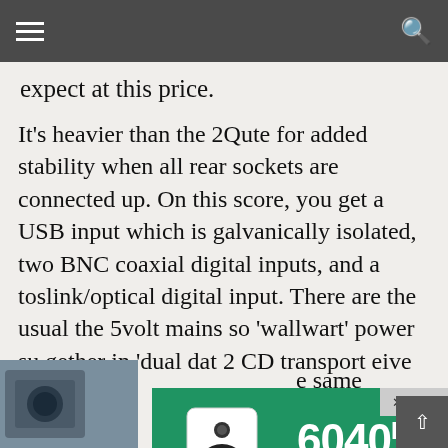expect at this price.
It’s heavier than the 2Qute for added stability when all rear sockets are connected up. On this score, you get a USB input which is galvanically isolated, two BNC coaxial digital inputs, and a toslink/optical digital input. There are the usual the 5volt mains so wallwart’ power su gether in ‘dual dat 2 CD transport eive higher sa
[Figure (photo): Bottom left partial photo of audio equipment]
[Figure (infographic): Genelec 6040R advertisement overlay. Shows white speaker on stand, model number 6040R with superscript R, tagline 'A home audio classic, reimagined.' and GENELEC brand name on green background.]
e same go2 but